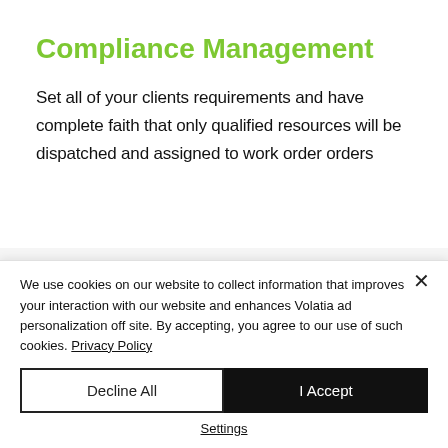Compliance Management
Set all of your clients requirements and have complete faith that only qualified resources will be dispatched and assigned to work order orders
We use cookies on our website to collect information that improves your interaction with our website and enhances Volatia ad personalization off site. By accepting, you agree to our use of such cookies. Privacy Policy
Decline All
I Accept
Settings